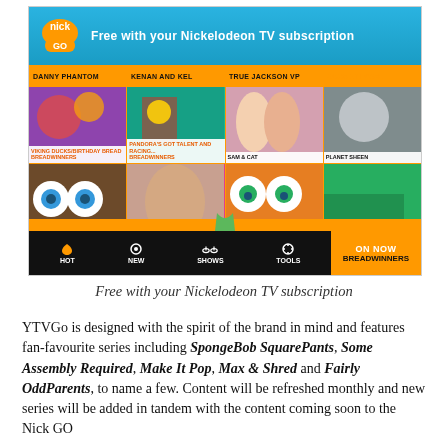[Figure (screenshot): Nick Go app screenshot showing 'Free with your Nickelodeon TV subscription' with a grid of show thumbnails including Danny Phantom, Kenan and Kel, True Jackson VP, Rocket Power, Breadwinners, Sam & Cat, Planet Sheen, Rabbids Invasion, Every Witch Way, Breadwinners, and a bottom navigation bar with HOT, NEW, SHOWS, TOOLS and ON NOW / BREADWINNERS]
Free with your Nickelodeon TV subscription
YTVGo is designed with the spirit of the brand in mind and features fan-favourite series including SpongeBob SquarePants, Some Assembly Required, Make It Pop, Max & Shred and Fairly OddParents, to name a few. Content will be refreshed monthly and new series will be added in tandem with the content coming soon to the Nick GO